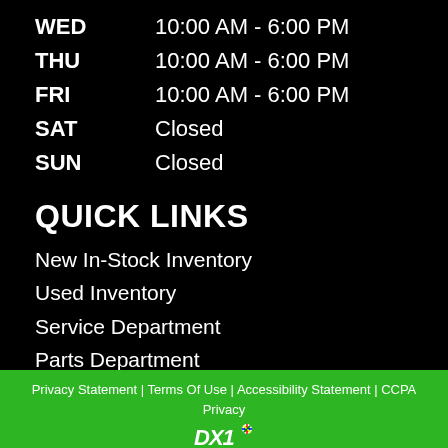| Day | Hours |
| --- | --- |
| WED | 10:00 AM - 6:00 PM |
| THU | 10:00 AM - 6:00 PM |
| FRI | 10:00 AM - 6:00 PM |
| SAT | Closed |
| SUN | Closed |
QUICK LINKS
New In-Stock Inventory
Used Inventory
Service Department
Parts Department
Map & Hours
Contact Us
Privacy Statement | Terms Of Use | Accessibility Statement | CCPA Privacy